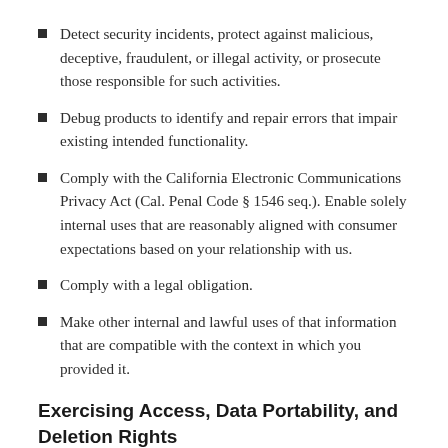Detect security incidents, protect against malicious, deceptive, fraudulent, or illegal activity, or prosecute those responsible for such activities.
Debug products to identify and repair errors that impair existing intended functionality.
Comply with the California Electronic Communications Privacy Act (Cal. Penal Code § 1546 seq.). Enable solely internal uses that are reasonably aligned with consumer expectations based on your relationship with us.
Comply with a legal obligation.
Make other internal and lawful uses of that information that are compatible with the context in which you provided it.
Exercising Access, Data Portability, and Deletion Rights
To exercise the access, data portability, and deletion rights described above, please submit a verifiable consumer request